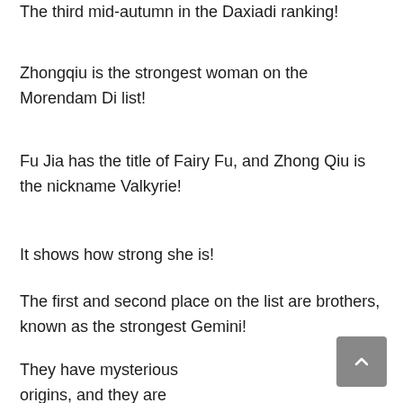The third mid-autumn in the Daxiadi ranking!
Zhongqiu is the strongest woman on the Morendam Di list!
Fu Jia has the title of Fairy Fu, and Zhong Qiu is the nickname Valkyrie!
It shows how strong she is!
The first and second place on the list are brothers, known as the strongest Gemini!
They have mysterious origins, and they are secular disciples of the ancient Shushan line!
It's so outrageous!